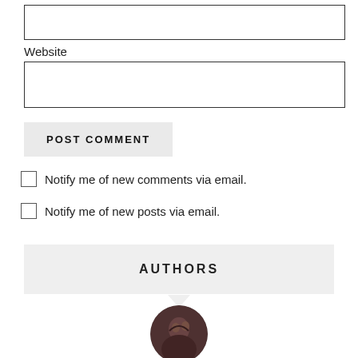Website
POST COMMENT
Notify me of new comments via email.
Notify me of new posts via email.
AUTHORS
[Figure (photo): Circular avatar photo of a person]